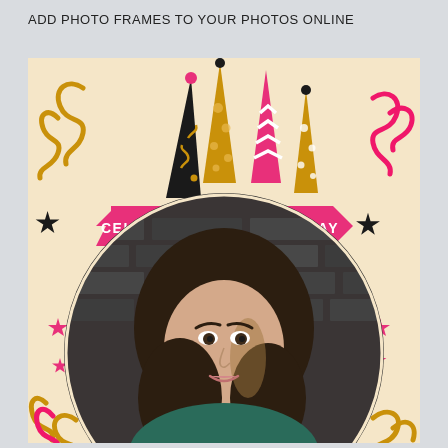ADD PHOTO FRAMES TO YOUR PHOTOS ONLINE
[Figure (illustration): A birthday photo frame template with a warm beige background. Decorative party hats (black with gold swirls, gold with circles, pink with chevrons, gold dotted), gold and pink curly ribbons/streamers, black and pink stars scattered around. A pink banner ribbon in the center reads 'CELEBRATE YOUR BIRTHDAY' in white text. A circular portrait photo frame shows a young woman with long dark wavy hair, wearing a dark teal top, positioned against a dark brick wall background.]